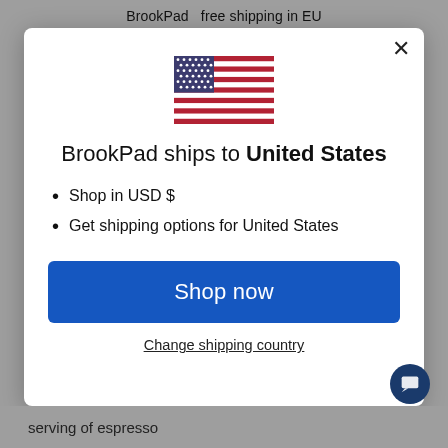BrookPad   free shipping in EU
[Figure (illustration): US flag SVG illustration]
BrookPad ships to United States
Shop in USD $
Get shipping options for United States
Shop now
Change shipping country
serving of espresso